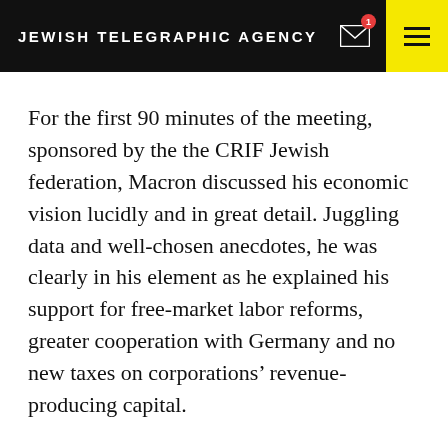JEWISH TELEGRAPHIC AGENCY
For the first 90 minutes of the meeting, sponsored by the the CRIF Jewish federation, Macron discussed his economic vision lucidly and in great detail. Juggling data and well-chosen anecdotes, he was clearly in his element as he explained his support for free-market labor reforms, greater cooperation with Germany and no new taxes on corporations’ revenue-producing capital.
But then he turned to foreign policy — a weaker subject